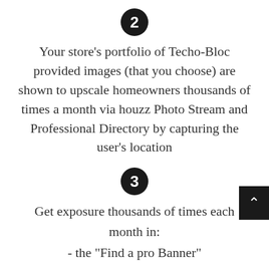[Figure (other): Black circle with white number 2 inside]
Your store's portfolio of Techo-Bloc provided images (that you choose) are shown to upscale homeowners thousands of times a month via houzz Photo Stream and Professional Directory by capturing the user's location
[Figure (other): Black circle with white number 3 inside]
Get exposure thousands of times each month in:
- the "Find a pro Banner"
- the 4th photo listed in the